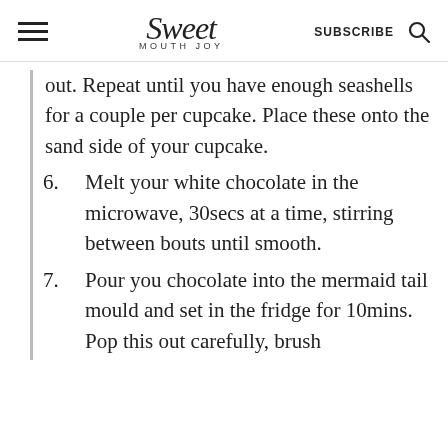Sweet Mouth Joy | SUBSCRIBE
out. Repeat until you have enough seashells for a couple per cupcake. Place these onto the sand side of your cupcake.
6. Melt your white chocolate in the microwave, 30secs at a time, stirring between bouts until smooth.
7. Pour you chocolate into the mermaid tail mould and set in the fridge for 10mins. Pop this out carefully, brush